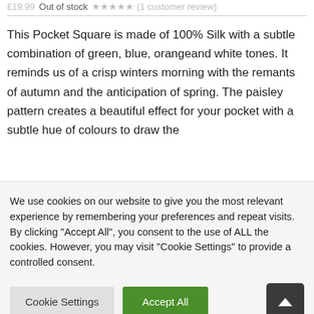£19.99 Out of stock ★★★★★ (1 customer review)
This Pocket Square is made of 100% Silk with a subtle combination of green, blue, orangeand white tones. It reminds us of a crisp winters morning with the remants of autumn and the anticipation of spring. The paisley pattern creates a beautiful effect for your pocket with a subtle hue of colours to draw the
We use cookies on our website to give you the most relevant experience by remembering your preferences and repeat visits. By clicking "Accept All", you consent to the use of ALL the cookies. However, you may visit "Cookie Settings" to provide a controlled consent.